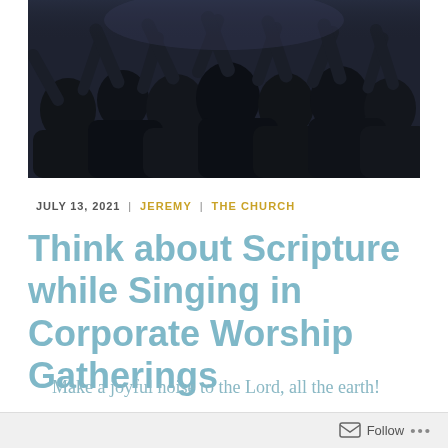[Figure (photo): Crowd of people with arms raised during a worship gathering, viewed from behind, dark tones]
JULY 13, 2021  |  JEREMY  |  THE CHURCH
Think about Scripture while Singing in Corporate Worship Gatherings
Make a joyful noise to the Lord, all the earth!
Follow ...